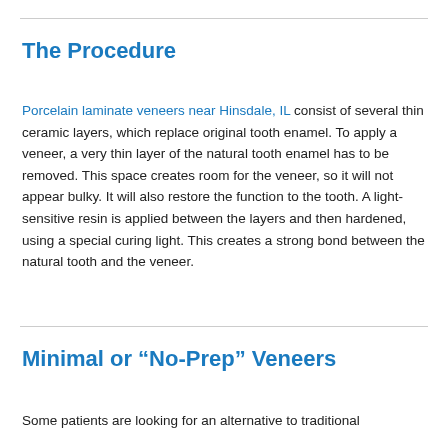The Procedure
Porcelain laminate veneers near Hinsdale, IL consist of several thin ceramic layers, which replace original tooth enamel. To apply a veneer, a very thin layer of the natural tooth enamel has to be removed. This space creates room for the veneer, so it will not appear bulky. It will also restore the function to the tooth. A light-sensitive resin is applied between the layers and then hardened, using a special curing light. This creates a strong bond between the natural tooth and the veneer.
Minimal or “No-Prep” Veneers
Some patients are looking for an alternative to traditional